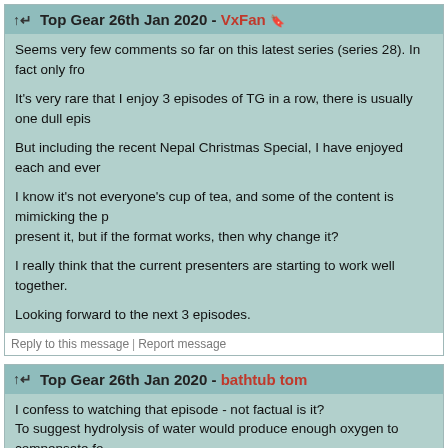Top Gear 26th Jan 2020
Top Gear 26th Jan 2020 - VxFan
Seems very few comments so far on this latest series (series 28). In fact only fro...
It's very rare that I enjoy 3 episodes of TG in a row, there is usually one dull epis...
But including the recent Nepal Christmas Special, I have enjoyed each and ever...
I know it's not everyone's cup of tea, and some of the content is mimicking the p... present it, but if the format works, then why change it?
I really think that the current presenters are starting to work well together.
Looking forward to the next 3 episodes.
Reply to this message | Report message
Top Gear 26th Jan 2020 - bathtub tom
I confess to watching that episode - not factual is it?
To suggest hydrolysis of water would produce enough oxygen to compensate fo... a damn great power source to do that!
Reply to this message | Report message
Top Gear 26th Jan 2020 - Fullchat
I created some debate on a retired Traffic site regarding the driving of the Stuttga... on UK roads. - To be fair some of it was along the lines of 'the clue is in the title r... did ensue regarding driving foreign registered vehicles whilst being a UK reside...